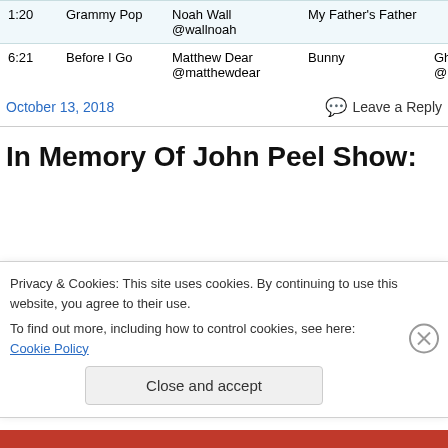| Time | Title | Artist | Album | Label |
| --- | --- | --- | --- | --- |
| 1:20 | Grammy Pop | Noah Wall
@wallnoah | My Father's Father |  |
| 6:21 | Before I Go | Matthew Dear
@matthewdear | Bunny | Gh
@ |
October 13, 2018
Leave a Reply
In Memory Of John Peel Show:
Privacy & Cookies: This site uses cookies. By continuing to use this website, you agree to their use.
To find out more, including how to control cookies, see here: Cookie Policy
Close and accept